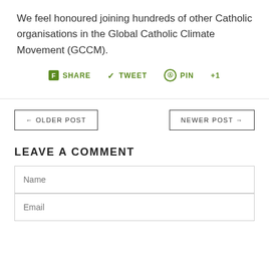We feel honoured joining hundreds of other Catholic organisations in the Global Catholic Climate Movement (GCCM).
SHARE  TWEET  PIN  +1
← OLDER POST
NEWER POST →
LEAVE A COMMENT
Name
Email